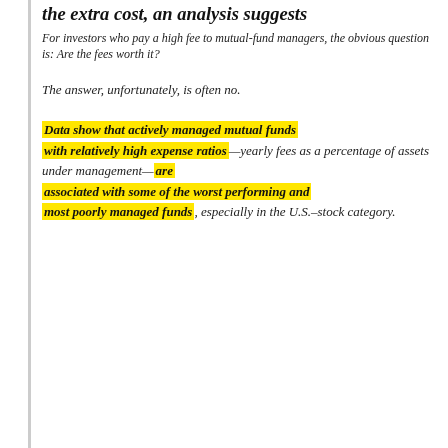the extra cost, an analysis suggests
For investors who pay a high fee to mutual-fund managers, the obvious question is: Are the fees worth it?
The answer, unfortunately, is often no.
Data show that actively managed mutual funds with relatively high expense ratios —yearly fees as a percentage of assets under management— are associated with some of the worst performing and most poorly managed funds, especially in the U.S.–stock category.